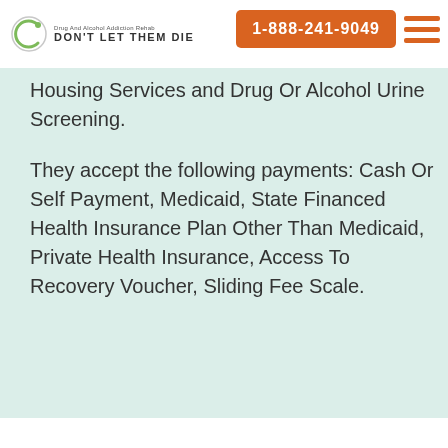[Figure (logo): Don't Let Them Die drug and alcohol addiction rehab logo with circular C icon]
1-888-241-9049
Housing Services and Drug Or Alcohol Urine Screening.
They accept the following payments: Cash Or Self Payment, Medicaid, State Financed Health Insurance Plan Other Than Medicaid, Private Health Insurance, Access To Recovery Voucher, Sliding Fee Scale.